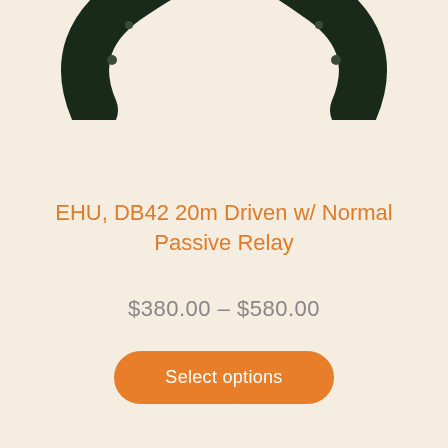[Figure (photo): Partial view of a dark green/black curved mechanical gasket or ring component (EHU DB42), cropped at top of page.]
EHU, DB42 20m Driven w/ Normal Passive Relay
$380.00 – $580.00
Select options